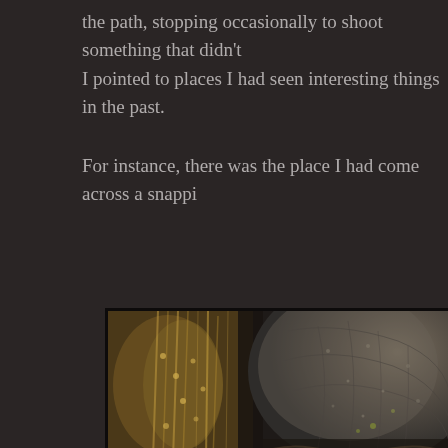the path, stopping occasionally to shoot something that didn't I pointed to places I had seen interesting things in the past.
For instance, there was the place I had come across a snappi
[Figure (photo): Close-up macro photograph of a snapping turtle shell and surrounding vegetation/leaves. The left side shows blurred brownish fibrous plant material, while the right side shows the textured dark shell of a turtle with intricate scale patterns visible.]